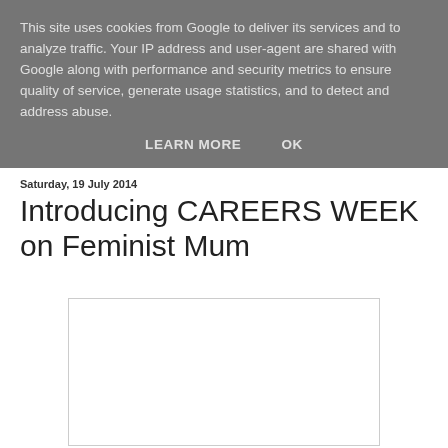This site uses cookies from Google to deliver its services and to analyze traffic. Your IP address and user-agent are shared with Google along with performance and security metrics to ensure quality of service, generate usage statistics, and to detect and address abuse.
LEARN MORE   OK
Saturday, 19 July 2014
Introducing CAREERS WEEK on Feminist Mum
[Figure (other): White rectangle with border, appears to be an embedded image or placeholder]